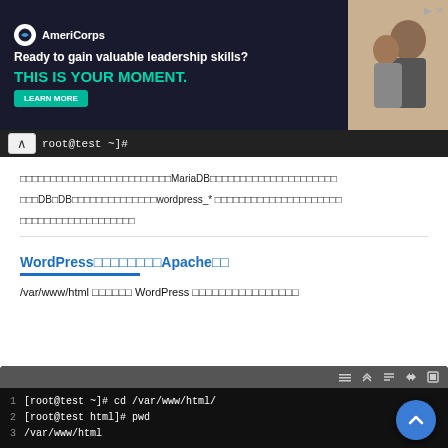[Figure (screenshot): AmeriCorps advertisement banner with dark background, logo, tagline 'Ready to gain valuable leadership skills?', 'THIS IS YOUR MOMENT.' in teal, LEARN MORE button, and a photo of people on the right.]
[Figure (screenshot): Terminal bar showing 'root@test ~]#' prompt with a scroll-up button.]
คือทำการ install MariaDB เพิ่มเข้ามา และมีการสร้าง DB, DB นั้นใช้ prefix wordpress_* เพื่อให้รู้ว่าเป็น database ของ wordpress
WordPressดาวน์โหลดและApacheติดตั้ง
/var/www/html ไดเรกทอรี WordPress จะถูกดาวน์โหลดและติดตั้ง
[Figure (screenshot): Terminal window showing commands: 1 [root@test ~]# cd /var/www/html/ 2 [root@test html]# pwd 3 /var/www/html]